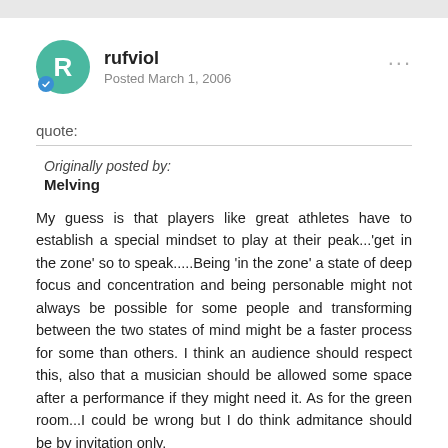rufviol
Posted March 1, 2006
quote:
Originally posted by:
Melving

My guess is that players like great athletes have to establish a special mindset to play at their peak...'get in the zone' so to speak.....Being 'in the zone' a state of deep focus and concentration and being personable might not always be possible for some people and transforming between the two states of mind might be a faster process for some than others. I think an audience should respect this, also that a musician should be allowed some space after a performance if they might need it. As for the green room...I could be wrong but I do think admitance should be by invitation only.
Regards, M